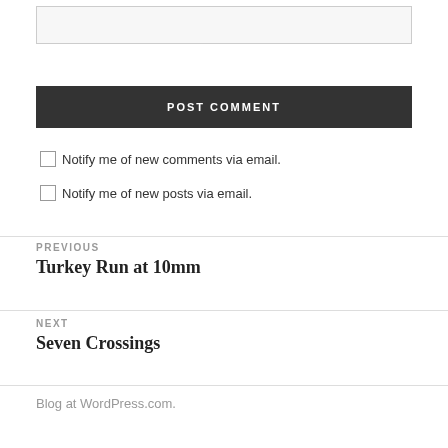[text input box]
POST COMMENT
Notify me of new comments via email.
Notify me of new posts via email.
PREVIOUS
Turkey Run at 10mm
NEXT
Seven Crossings
Blog at WordPress.com.